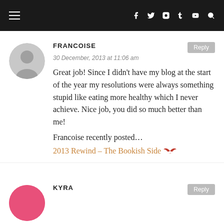Navigation bar with hamburger menu and social icons: Facebook, Twitter, Instagram, Tumblr, YouTube, Search
FRANCOISE
30 December, 2013 at 11:06 am

Great job! Since I didn't have my blog at the start of the year my resolutions were always something stupid like eating more healthy which I never achieve. Nice job, you did so much better than me!
Francoise recently posted…
2013 Rewind – The Bookish Side
KYRA